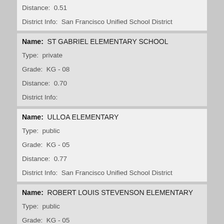Distance: 0.51
District Info: San Francisco Unified School District
Name: ST GABRIEL ELEMENTARY SCHOOL
Type: private
Grade: KG - 08
Distance: 0.70
District Info:
Name: ULLOA ELEMENTARY
Type: public
Grade: KG - 05
Distance: 0.77
District Info: San Francisco Unified School District
Name: ROBERT LOUIS STEVENSON ELEMENTARY
Type: public
Grade: KG - 05
Distance: 0.84